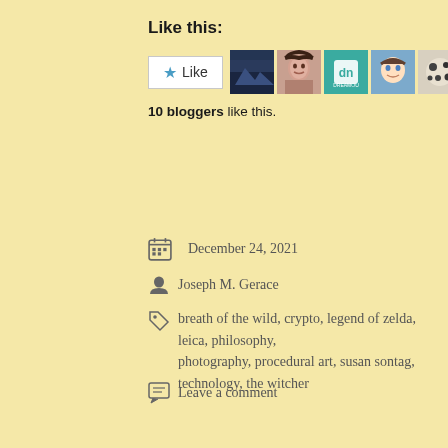Like this:
[Figure (screenshot): Like button with star icon and 7 blogger avatar thumbnails]
10 bloggers like this.
December 24, 2021
Joseph M. Gerace
breath of the wild, crypto, legend of zelda, leica, philosophy, photography, procedural art, susan sontag, technology, the witcher
Leave a comment
[Figure (illustration): Decorative ornamental divider with scrollwork]